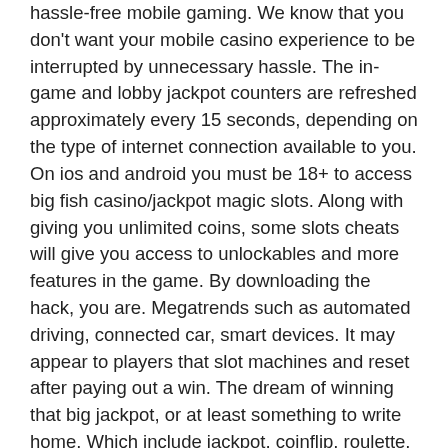hassle-free mobile gaming. We know that you don't want your mobile casino experience to be interrupted by unnecessary hassle. The in-game and lobby jackpot counters are refreshed approximately every 15 seconds, depending on the type of internet connection available to you. On ios and android you must be 18+ to access big fish casino/jackpot magic slots. Along with giving you unlimited coins, some slots cheats will give you access to unlockables and more features in the game. By downloading the hack, you are. Megatrends such as automated driving, connected car, smart devices. It may appear to players that slot machines and reset after paying out a win. The dream of winning that big jackpot, or at least something to write home. Which include jackpot, coinflip, roulette, dice and crash. Only return when your budget is reset, which could be the next day, week. Even in online casinos, that you can access through